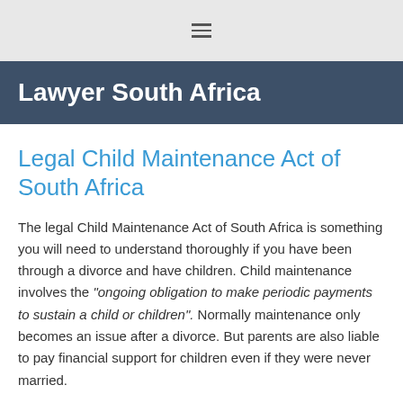≡
Lawyer South Africa
Legal Child Maintenance Act of South Africa
The legal Child Maintenance Act of South Africa is something you will need to understand thoroughly if you have been through a divorce and have children. Child maintenance involves the "ongoing obligation to make periodic payments to sustain a child or children". Normally maintenance only becomes an issue after a divorce. But parents are also liable to pay financial support for children even if they were never married.